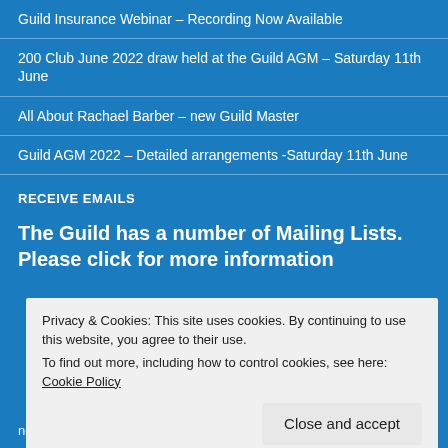Guild Insurance Webinar – Recording Now Available
200 Club June 2022 draw held at the Guild AGM – Saturday 11th June
All About Rachael Barber – new Guild Master
Guild AGM 2022 – Detailed arrangements -Saturday 11th June
RECEIVE EMAILS
The Guild has a number of Mailing Lists. Please click for more information
Privacy & Cookies: This site uses cookies. By continuing to use this website, you agree to their use.
To find out more, including how to control cookies, see here: Cookie Policy
Close and accept
notifications of new posts by email.